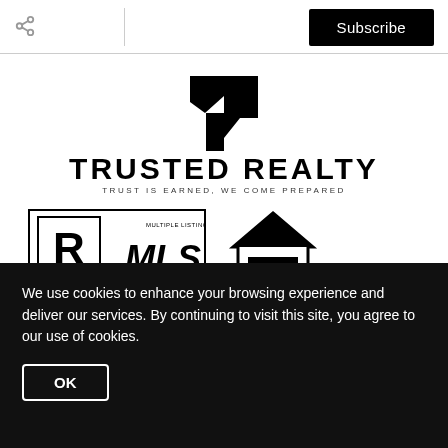Subscribe
[Figure (logo): Trusted Realty logo with stylized T icon and tagline TRUST IS EARNED, WE COME PREPARED]
[Figure (logo): REALTOR MLS logo badge and Equal Housing Opportunity logo]
We use cookies to enhance your browsing experience and deliver our services. By continuing to visit this site, you agree to our use of cookies.
OK